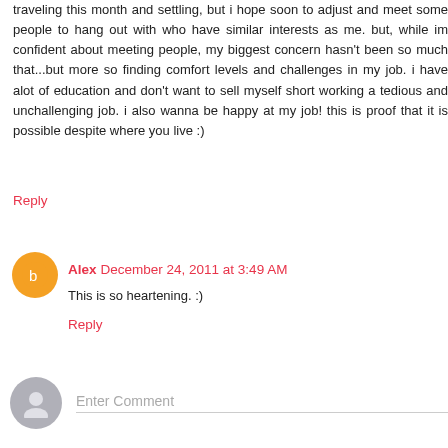traveling this month and settling, but i hope soon to adjust and meet some people to hang out with who have similar interests as me. but, while im confident about meeting people, my biggest concern hasn't been so much that...but more so finding comfort levels and challenges in my job. i have alot of education and don't want to sell myself short working a tedious and unchallenging job. i also wanna be happy at my job! this is proof that it is possible despite where you live :)
Reply
Alex December 24, 2011 at 3:49 AM
This is so heartening. :)
Reply
Enter Comment